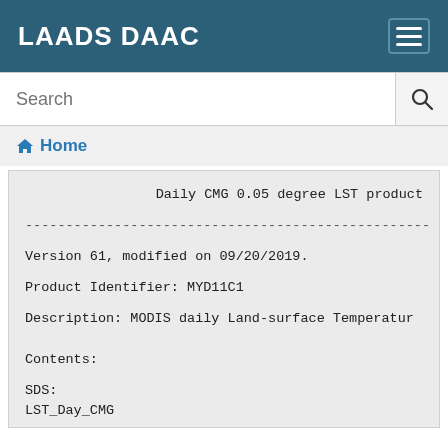LAADS DAAC
Search
Home
Daily CMG 0.05 degree LST product
----------------------------------------------------
Version 61, modified on 09/20/2019.

Product Identifier: MYD11C1

Description:  MODIS daily Land-surface Temperatur


Contents:

SDS:
LST_Day_CMG